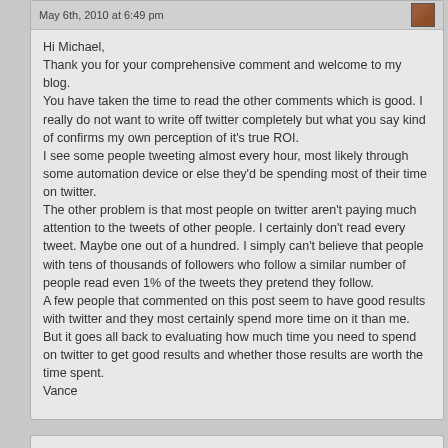May 6th, 2010 at 6:49 pm
Hi Michael,
Thank you for your comprehensive comment and welcome to my blog.
You have taken the time to read the other comments which is good. I really do not want to write off twitter completely but what you say kind of confirms my own perception of it's true ROI.
I see some people tweeting almost every hour, most likely through some automation device or else they'd be spending most of their time on twitter.
The other problem is that most people on twitter aren't paying much attention to the tweets of other people. I certainly don't read every tweet. Maybe one out of a hundred. I simply can't believe that people with tens of thousands of followers who follow a similar number of people read even 1% of the tweets they pretend they follow.
A few people that commented on this post seem to have good results with twitter and they most certainly spend more time on it than me. But it goes all back to evaluating how much time you need to spend on twitter to get good results and whether those results are worth the time spent.
Vance